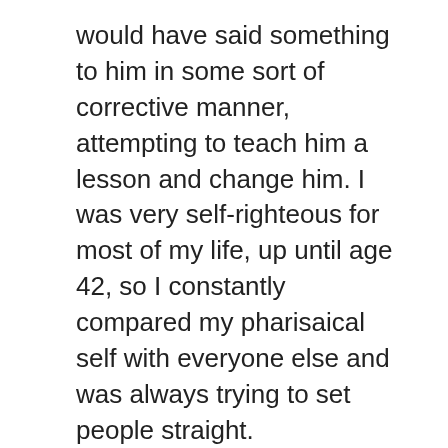would have said something to him in some sort of corrective manner, attempting to teach him a lesson and change him. I was very self-righteous for most of my life, up until age 42, so I constantly compared my pharisaical self with everyone else and was always trying to set people straight.
After this incident, I pondered why the new post-grace revelation Sandra was able to react so differently now because I noticed it was very natural. I could tell it came straight out of my heart and was not a reaction I had to try to sit on my flesh to work up.
As I was praying about the situation and contemplating it, I asked God how He wanted me to put this into words for a blog post, I believe He showed me something very powerful. He showed